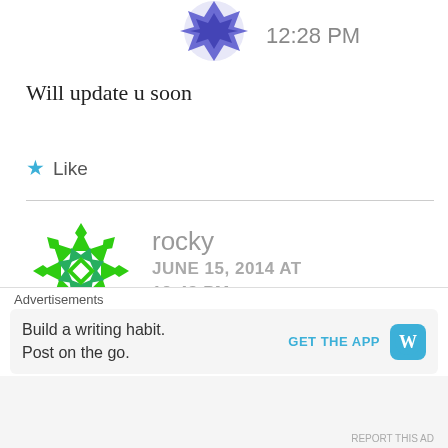[Figure (illustration): Purple/blue avatar icon at top with timestamp 12:28 PM]
Will update u soon
★ Like
[Figure (illustration): Green geometric snowflake pattern avatar for user 'rocky']
rocky
JUNE 15, 2014 AT
12:48 PM
Thanks dude... Its available now. Placed an order successfully. Thanks once
Advertisements
Build a writing habit.
Post on the go.
GET THE APP
REPORT THIS AD